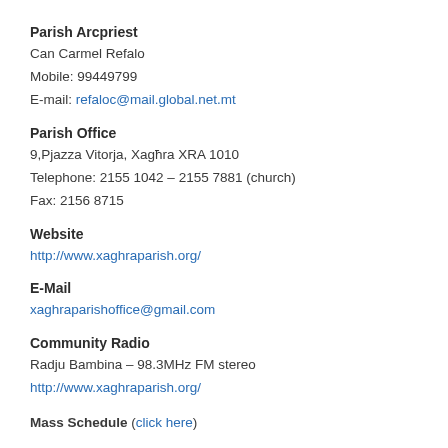Parish Arcpriest
Can Carmel Refalo
Mobile: 99449799
E-mail: refaloc@mail.global.net.mt
Parish Office
9,Pjazza Vitorja, Xagħra XRA 1010
Telephone: 2155 1042 – 2155 7881 (church)
Fax: 2156 8715
Website
http://www.xaghraparish.org/
E-Mail
xaghraparishoffice@gmail.com
Community Radio
Radju Bambina – 98.3MHz FM stereo
http://www.xaghraparish.org/
Mass Schedule (click here)
Parish Population